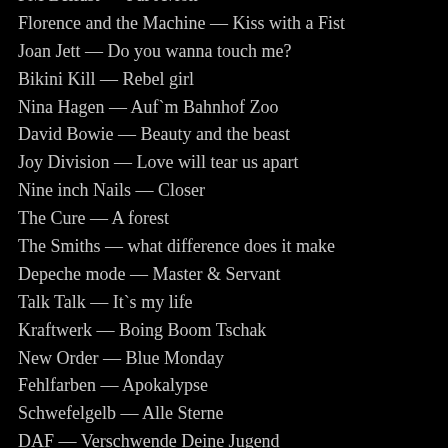FM Belfast — Par Avion
Florence and the Machine — Kiss with a Fist
Joan Jett — Do you wanna touch me?
Bikini Kill — Rebel girl
Nina Hagen — Auf`m Bahnhof Zoo
David Bowie — Beauty and the beast
Joy Division — Love will tear us apart
Nine inch Nails — Closer
The Cure — A forest
The Smiths — what difference does it make
Depeche mode — Master & Servant
Talk Talk — It`s my life
Kraftwerk — Boing Boom Tschak
New Order — Blue Monday
Fehlfarben — Apokalypse
Schwefelgelb — Alle Sterne
DAF — Verschwende Deine Jugend
William Shatner — Common People
Dead Kennedys — Too drunk to fuck